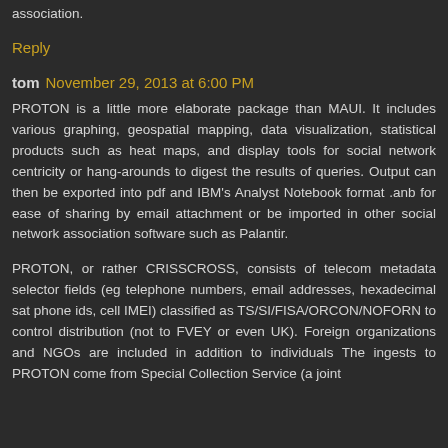association.
Reply
tom   November 29, 2013 at 6:00 PM
PROTON is a little more elaborate package than MAUI. It includes various graphing, geospatial mapping, data visualization, statistical products such as heat maps, and display tools for social network centricity or hang-arounds to digest the results of queries. Output can then be exported into pdf and IBM's Analyst Notebook format .anb for ease of sharing by email attachment or be imported in other social network association software such as Palantir.
PROTON, or rather CRISSCROSS, consists of telecom metadata selector fields (eg telephone numbers, email addresses, hexadecimal sat phone ids, cell IMEI) classified as TS/SI/FISA/ORCON/NOFORN to control distribution (not to FVEY or even UK). Foreign organizations and NGOs are included in addition to individuals The ingests to PROTON come from Special Collection Service (a joint